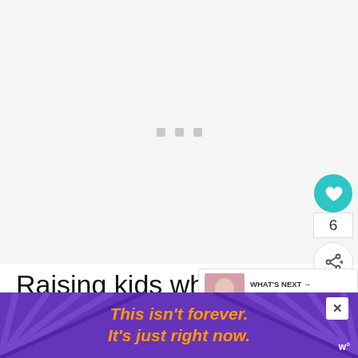[Figure (other): Loading placeholder area with three gray squares in the center, indicating content loading]
[Figure (infographic): Social interaction buttons: teal heart button with count 6, and share button below]
Raising kids who love our earth doesn't have to be complicating. It can start w...
[Figure (other): WHAT'S NEXT banner with thumbnail photo showing How to Get Your Kids...]
[Figure (other): Purple advertisement banner with orange italic text: This isn't forever. It's just right now. With close X button and TV logo.]